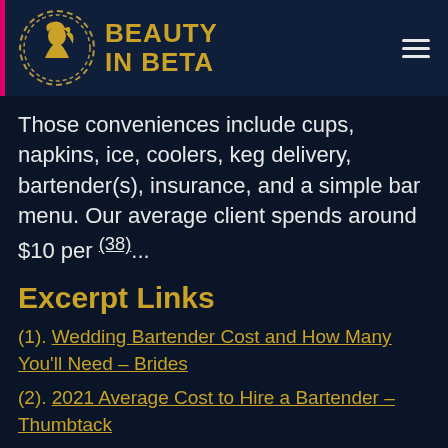BEAUTY IN BETA
Those conveniences include cups, napkins, ice, coolers, keg delivery, bartender(s), insurance, and a simple bar menu. Our average client spends around $10 per (38)...
Excerpt Links
(1). Wedding Bartender Cost and How Many You'll Need – Brides
(2). 2021 Average Cost to Hire a Bartender – Thumbtack
(3). ...